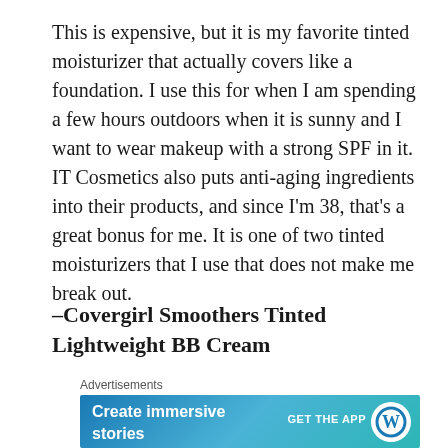This is expensive, but it is my favorite tinted moisturizer that actually covers like a foundation. I use this for when I am spending a few hours outdoors when it is sunny and I want to wear makeup with a strong SPF in it. IT Cosmetics also puts anti-aging ingredients into their products, and since I'm 38, that's a great bonus for me. It is one of two tinted moisturizers that I use that does not make me break out.
–Covergirl Smoothers Tinted Lightweight BB Cream
Advertisements
[Figure (other): Advertisement banner with teal/blue gradient background reading 'Create immersive stories' with 'GET THE APP' text and WordPress logo]